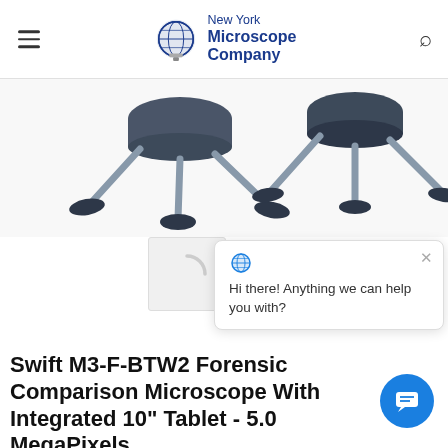New York Microscope Company
[Figure (photo): Product photo showing microscope stands/bases, two tripod-style bases with grey legs and dark feet visible against white background]
[Figure (screenshot): Chat popup widget with globe icon, close X button, and text 'Hi there! Anything we can help you with?', plus a blue circular chat button]
Swift M3-F-BTW2 Forensic Comparison Microscope With Integrated 10" Tablet - 5.0 MegaPixels